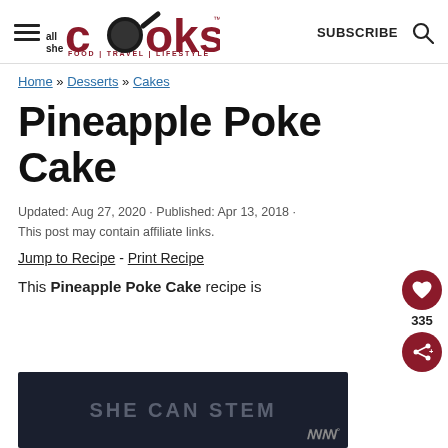all she cooks — FOOD | TRAVEL | LIFESTYLE — SUBSCRIBE
Home » Desserts » Cakes
Pineapple Poke Cake
Updated: Aug 27, 2020 · Published: Apr 13, 2018 · This post may contain affiliate links.
Jump to Recipe - Print Recipe
This Pineapple Poke Cake recipe is...
[Figure (screenshot): Dark video thumbnail showing 'SHE CAN STEM' text overlay on dark background]